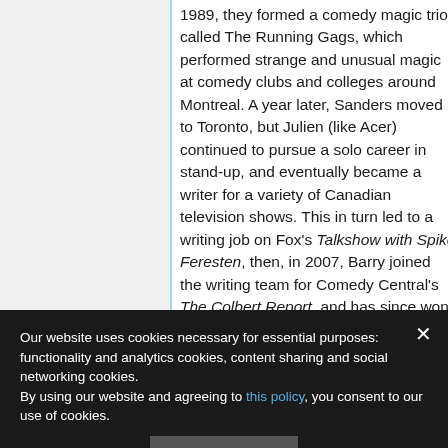1989, they formed a comedy magic trio called The Running Gags, which performed strange and unusual magic at comedy clubs and colleges around Montreal. A year later, Sanders moved to Toronto, but Julien (like Acer) continued to pursue a solo career in stand-up, and eventually became a writer for a variety of Canadian television shows. This in turn led to a writing job on Fox's Talkshow with Spike Feresten, then, in 2007, Barry joined the writing team for Comedy Central's The Colbert Report, and has since won a Peabody award as
Our website uses cookies necessary for essential purposes: functionality and analytics cookies, content sharing and social networking cookies. By using our website and agreeing to this policy, you consent to our use of cookies.